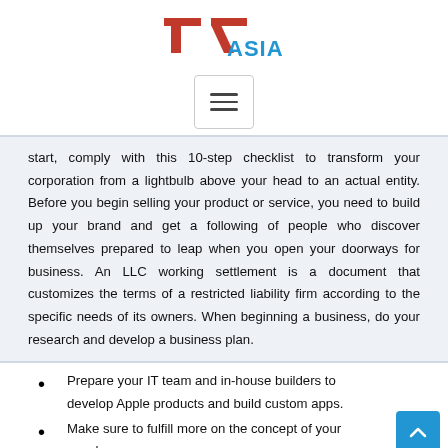[Figure (logo): TNAsia logo with red stylized TN mark and blue ASIA text]
[Figure (screenshot): Hamburger menu button with three horizontal lines inside a rounded rectangle]
start, comply with this 10-step checklist to transform your corporation from a lightbulb above your head to an actual entity. Before you begin selling your product or service, you need to build up your brand and get a following of people who discover themselves prepared to leap when you open your doorways for business. An LLC working settlement is a document that customizes the terms of a restricted liability firm according to the specific needs of its owners. When beginning a business, do your research and develop a business plan.
Prepare your IT team and in-house builders to develop Apple products and build custom apps.
Make sure to fulfill more on the concept of your supply...